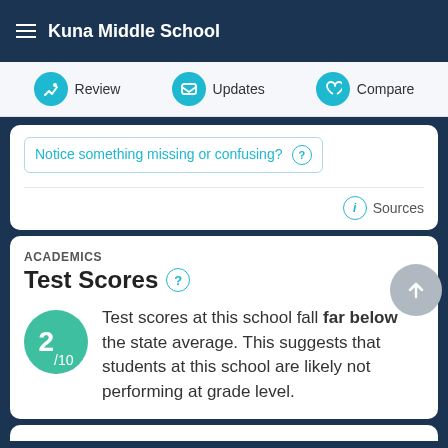Kuna Middle School
Review | Updates | Compare
Notice something missing or confusing? ?
Sources
ACADEMICS
Test Scores
Test scores at this school fall far below the state average. This suggests that students at this school are likely not performing at grade level.